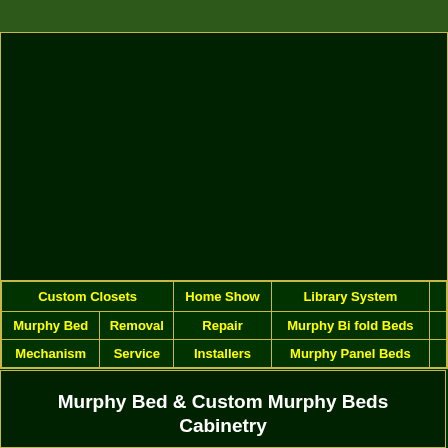| Custom Closets | Home Show | Library System |
| --- | --- | --- |
| Murphy Bed | Removal | Repair | Murphy Bi fold Beds |
| Mechanism | Service | Installers | Murphy Panel Beds |
Murphy Bed & Custom Murphy Beds Cabinetry